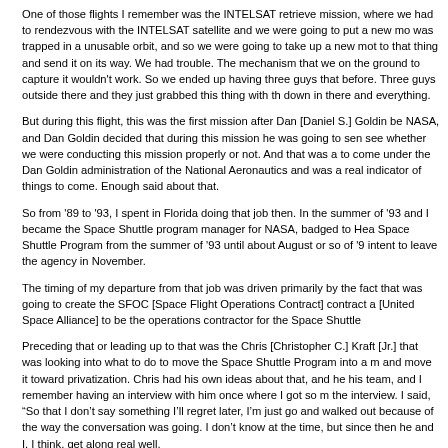One of those flights I remember was the INTELSAT retrieve mission, where we had to rendezvous with the INTELSAT satellite and we were going to put a new motor on it. It was trapped in a unusable orbit, and so we were going to take up a new motor and attach to that thing and send it on its way. We had trouble. The mechanism that we had tested on the ground to capture it wouldn't work. So we ended up having three guys do something that before. Three guys outside there and they just grabbed this thing with their hands and down in there and everything.
But during this flight, this was the first mission after Dan [Daniel S.] Goldin became NASA, and Dan Goldin decided that during this mission he was going to send someone to see whether we were conducting this mission properly or not. And that was a real indicator to come under the Dan Goldin administration of the National Aeronautics and was a real indicator of things to come. Enough said about that.
So from '89 to '93, I spent in Florida doing that job then. In the summer of '93 and I became the Space Shuttle program manager for NASA, badged to Headquarters. Space Shuttle Program from the summer of '93 until about August or so of '9 intent to leave the agency in November.
The timing of my departure from that job was driven primarily by the fact that was going to create the SFOC [Space Flight Operations Contract] contract and [United Space Alliance] to be the operations contractor for the Space Shuttle.
Preceding that or leading up to that was the Chris [Christopher C.] Kraft [Jr.] that was looking into what to do to move the Space Shuttle Program into a more and move it toward privatization. Chris had his own ideas about that, and he his team, and I remember having an interview with him once where I got so the interview. I said, "So that I don't say something I'll regret later, I'm just go and walked out because of the way the conversation was going. I don't know at the time, but since then he and I, I think, get along real well.